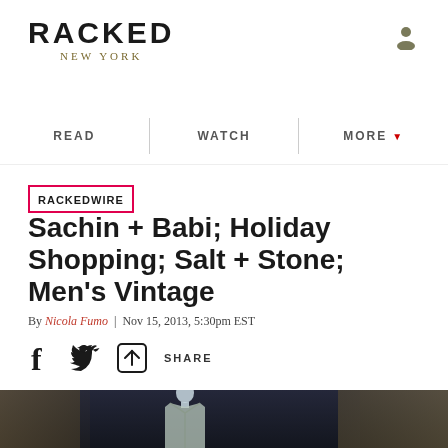RACKED NEW YORK
READ | WATCH | MORE
RACKEDWIRE
Sachin + Babi; Holiday Shopping; Salt + Stone; Men's Vintage
By Nicola Fumo | Nov 15, 2013, 5:30pm EST
SHARE
[Figure (photo): Dark interior photo showing a mannequin in a jacket inside what appears to be a retail or residential space with warm lighting and decorative elements]